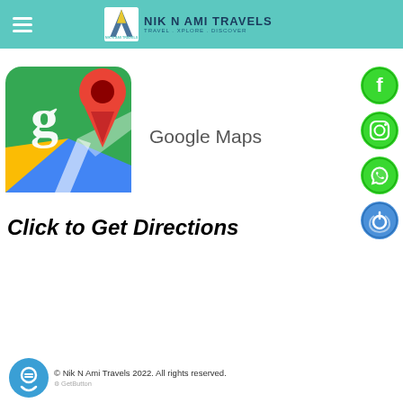[Figure (logo): Nik N Ami Travels logo with teal header, hamburger menu, stylized 'A' logo, brand name and tagline 'TRAVEL . XPLORE . DISCOVER']
[Figure (illustration): Google Maps app icon (green/yellow/blue square with red location pin) and text 'Google Maps' with bold italic black text 'Click to Get Directions' below]
[Figure (illustration): Social media side icons: Facebook (green circle with f), Instagram (green circle with camera), WhatsApp (green circle with phone), and a blue circle with power/contact icon]
© Nik N Ami Travels 2022. All rights reserved.